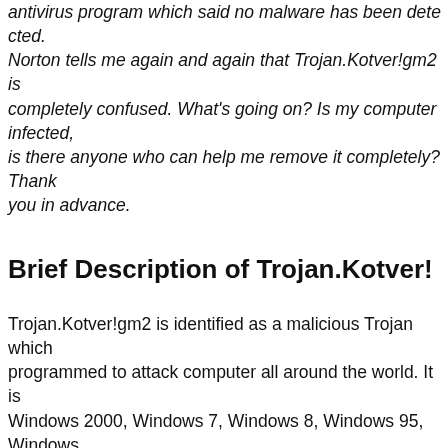antivirus program which said no malware has been detected. Norton tells me again and again that Trojan.Kotver!gm2 is completely confused. What's going on? Is my computer infected, is there anyone who can help me remove it completely? Thank you in advance.
Brief Description of Trojan.Kotver!
Trojan.Kotver!gm2 is identified as a malicious Trojan which programmed to attack computer all around the world. It is Windows 2000, Windows 7, Windows 8, Windows 95, Windows NT, Windows Vista, Windows XP and other systems. To support the hackers and help its owner make money, it performs activities without your permission, such as changing settings, important files which can cause serious computer problems, and hides deep in your system. Not all the antivirus programs capable to detect Trojan.Kotver!gm2 virus as it makes use of tricks to escape from detection. You will not notice its existence until Norton or other famous security program reports the infection. It's dangerous as you don't know what is happening on your computer.